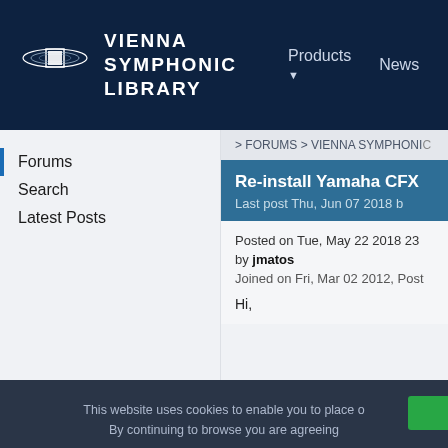VIENNA SYMPHONIC LIBRARY | Products | News | Music
Forums
Search
Latest Posts
> FORUMS > VIENNA SYMPHONIC
Re-install Yamaha CFX
Last post Thu, Jun 07 2018 b
Posted on Tue, May 22 2018 23
by jmatos
Joined on Fri, Mar 02 2012, Post
Hi,
This website uses cookies to enable you to place o
By continuing to browse you are agreeing
Essential    Statistics